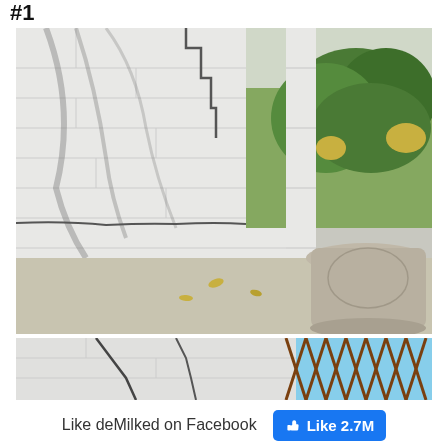#1
[Figure (photo): Photo of a white painted cinder block wall with large cracks and a large grey concrete planter pot with a green bush/tree. Shadow of tree branches on wall. Concrete ground with fallen leaves.]
[Figure (photo): Close-up photo of white painted cinder block wall showing large diagonal cracks. Brown wooden lattice fence visible on the right side. Blue sky visible.]
Like deMilked on Facebook
[Figure (other): Facebook Like button showing 2.7M likes]